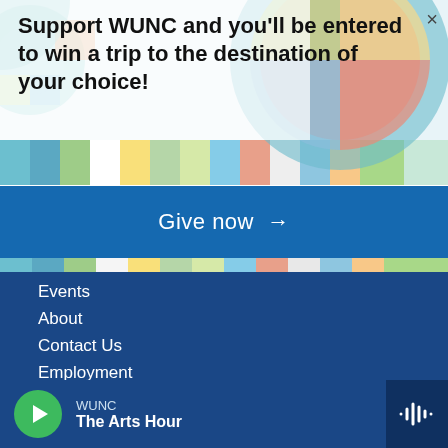[Figure (screenshot): Colorful geometric/abstract background with circles and rectangles in teal, pink, orange, green, blue colors]
Support WUNC and you'll be entered to win a trip to the destination of your choice!
Give now →
Events
About
Contact Us
Employment
Privacy
FCC Applications
WUNC
The Arts Hour